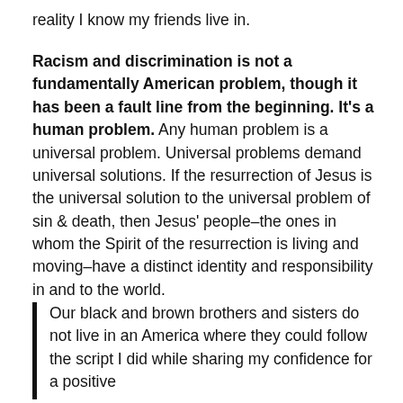reality I know my friends live in.
Racism and discrimination is not a fundamentally American problem, though it has been a fault line from the beginning. It's a human problem. Any human problem is a universal problem. Universal problems demand universal solutions. If the resurrection of Jesus is the universal solution to the universal problem of sin & death, then Jesus' people–the ones in whom the Spirit of the resurrection is living and moving–have a distinct identity and responsibility in and to the world.
Our black and brown brothers and sisters do not live in an America where they could follow the script I did while sharing my confidence for a positive